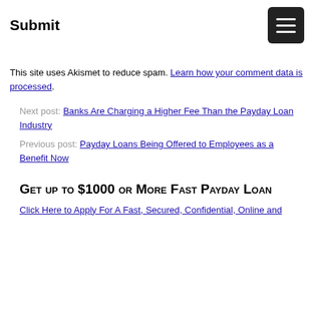Submit
This site uses Akismet to reduce spam. Learn how your comment data is processed.
Next post: Banks Are Charging a Higher Fee Than the Payday Loan Industry
Previous post: Payday Loans Being Offered to Employees as a Benefit Now
Get up to $1000 or More Fast Payday Loan
Click Here to Apply For A Fast, Secured, Confidential, Online and